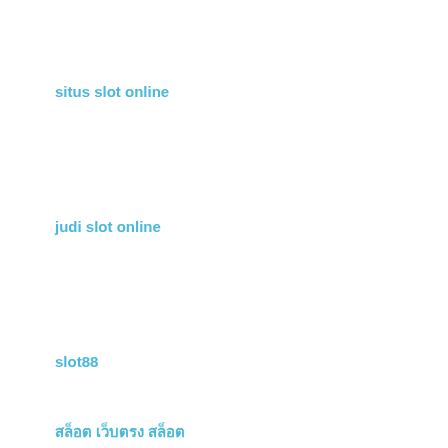situs slot online
judi slot online
slot88
สล็อต เว็บตรง สล็อต